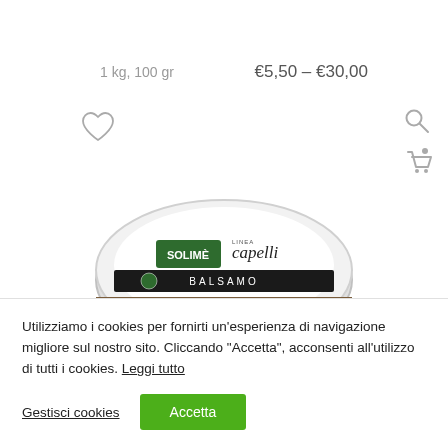1 kg, 100 gr
€5,50 – €30,00
[Figure (photo): Top view of a round tin container with Solimè Linea Capelli Balsamo label]
Utilizziamo i cookies per fornirti un'esperienza di navigazione migliore sul nostro sito. Cliccando "Accetta", acconsenti all'utilizzo di tutti i cookies. Leggi tutto
Gestisci cookies
Accetta